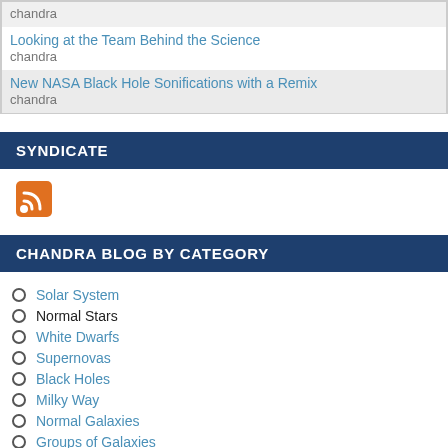| Looking at the Team Behind the Science | chandra |
| New NASA Black Hole Sonifications with a Remix | chandra |
SYNDICATE
[Figure (other): RSS feed icon - orange square with white wifi-style signal waves]
CHANDRA BLOG BY CATEGORY
Solar System
Normal Stars
White Dwarfs
Supernovas
Black Holes
Milky Way
Normal Galaxies
Groups of Galaxies
Quasars
Neutron Stars
Meet an Astronomer
Solar Blog